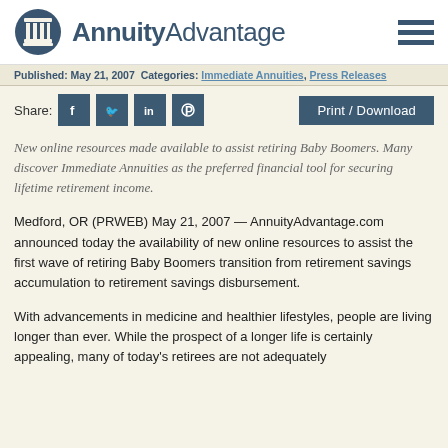AnnuityAdvantage
Published: May 21, 2007  Categories: Immediate Annuities, Press Releases
Share: [social buttons] Print / Download
New online resources made available to assist retiring Baby Boomers. Many discover Immediate Annuities as the preferred financial tool for securing lifetime retirement income.
Medford, OR (PRWEB) May 21, 2007 — AnnuityAdvantage.com announced today the availability of new online resources to assist the first wave of retiring Baby Boomers transition from retirement savings accumulation to retirement savings disbursement.
With advancements in medicine and healthier lifestyles, people are living longer than ever. While the prospect of a longer life is certainly appealing, many of today's retirees are not adequately